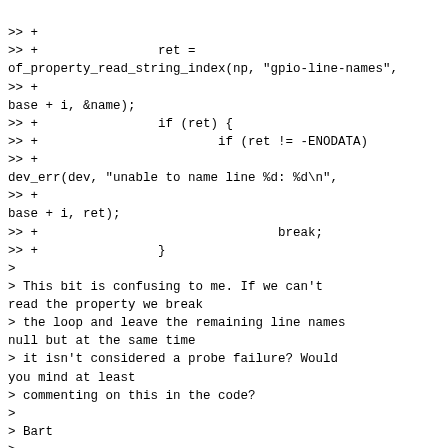>> +
>> +                ret =
of_property_read_string_index(np, "gpio-line-names",
>> +
base + i, &name);
>> +                if (ret) {
>> +                        if (ret != -ENODATA)
>> +
dev_err(dev, "unable to name line %d: %d\n",
>> +
base + i, ret);
>> +                                break;
>> +                }
>
> This bit is confusing to me. If we can't read the property we break
> the loop and leave the remaining line names null but at the same time
> it isn't considered a probe failure? Would you mind at least
> commenting on this in the code?
>
> Bart
>
The label names are viewed as a convenience for the user and are not
necessary for the proper functionality of the driver and device, so we
should not abort...